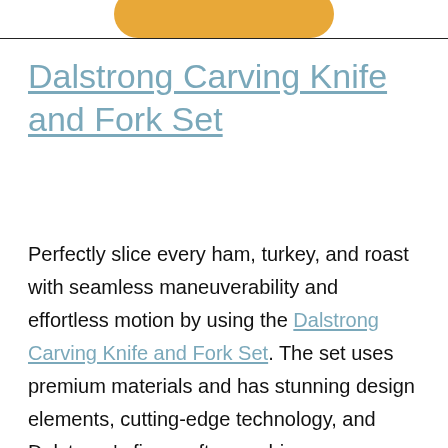[Figure (other): Orange/amber rounded button shape partially visible at the top of the page, cropped]
Dalstrong Carving Knife and Fork Set
Perfectly slice every ham, turkey, and roast with seamless maneuverability and effortless motion by using the Dalstrong Carving Knife and Fork Set. The set uses premium materials and has stunning design elements, cutting-edge technology, and Dalstrong's fine craftsmanship.